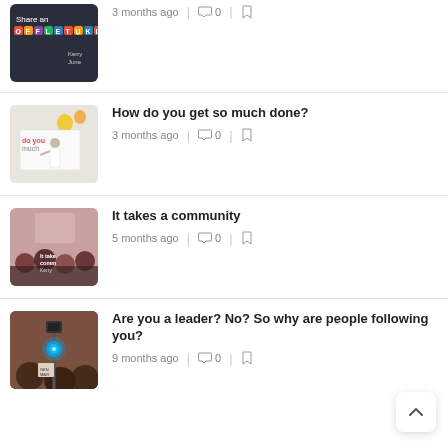[Figure (screenshot): Thumbnail image of a dark background with colorful letter tiles spelling something, partial text 'Share an', with 'Kerry June' visible]
3 months ago  |  0  |  bookmark
[Figure (photo): Thumbnail of a woman pointing at a whiteboard with colorful light bulb doodles, text overlay 'do you much']
How do you get so much done?
3 months ago  |  0  |  bookmark
[Figure (photo): Thumbnail of an audience at a conference/event, text overlay 'It takes a community Kerry']
It takes a community
5 months ago  |  0  |  bookmark
[Figure (photo): Thumbnail of a person holding a selfie stick with a glowing blue light, crowd in background]
Are you a leader? No? So why are people following you?
9 months ago  |  0  |  bookmark